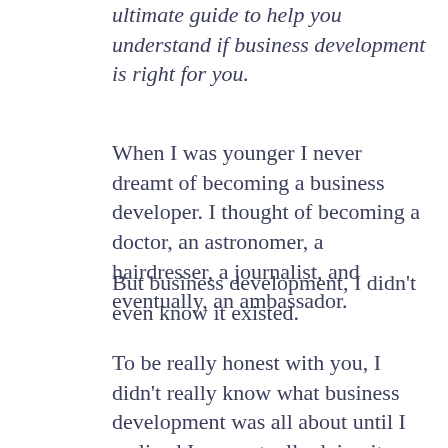ultimate guide to help you understand if business development is right for you.
When I was younger I never dreamt of becoming a business developer. I thought of becoming a doctor, an astronomer, a hairdresser, a journalist, and eventually, an ambassador.
But business development, I didn't even know it existed.
To be really honest with you, I didn't really know what business development was all about until I realized I was actually doing it.